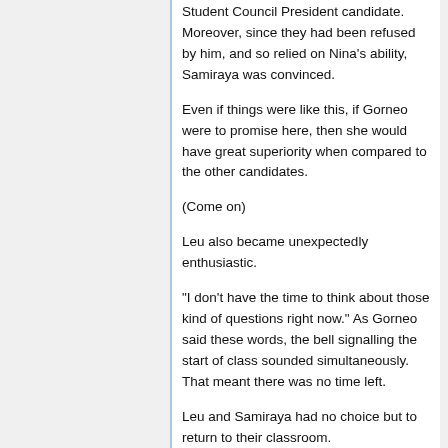Student Council President candidate. Moreover, since they had been refused by him, and so relied on Nina's ability, Samiraya was convinced.
Even if things were like this, if Gorneo were to promise here, then she would have great superiority when compared to the other candidates.
(Come on)
Leu also became unexpectedly enthusiastic.
"I don't have the time to think about those kind of questions right now." As Gorneo said these words, the bell signalling the start of class sounded simultaneously. That meant there was no time left.
Leu and Samiraya had no choice but to return to their classroom.